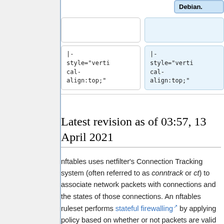| Debian. |  |
|  |  |
| |- style="vertical-align:top;" | |- style="vertical-align:top;" |
Latest revision as of 03:57, 13 April 2021
nftables uses netfilter's Connection Tracking system (often referred to as conntrack or ct) to associate network packets with connections and the states of those connections. An nftables ruleset performs stateful firewalling by applying policy based on whether or not packets are valid parts of tracked connections.